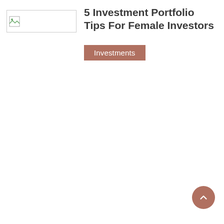[Figure (illustration): Broken/placeholder image icon in a rectangular box outline]
5 Investment Portfolio Tips For Female Investors
Investments